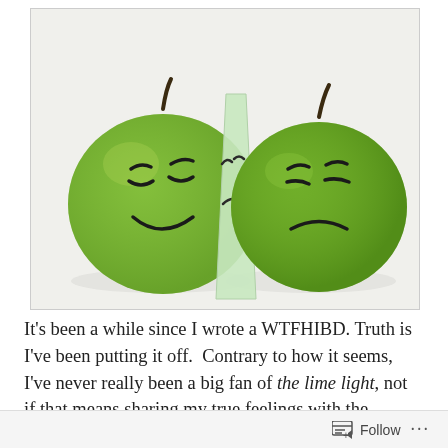[Figure (photo): Two green apples with drawn faces. Left apple has a happy smiling face. Right apple has a sad frowning face. A light green card/paper is placed between them showing the mirror of the happy face's expression, revealing the sad face underneath.]
It's been a while since I wrote a WTFHIBD. Truth is I've been putting it off.  Contrary to how it seems, I've never really been a big fan of the lime light, not if that means sharing my true feelings with the world. True feelings are a private thing. To be kept inside.
Follow ...